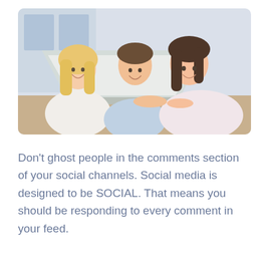[Figure (photo): Three people (one blonde woman, one man, one brunette woman) smiling and looking at a laptop screen together in a bright office setting.]
Don't ghost people in the comments section of your social channels. Social media is designed to be SOCIAL. That means you should be responding to every comment in your feed.